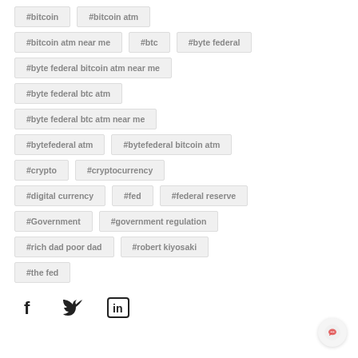#bitcoin
#bitcoin atm
#bitcoin atm near me
#btc
#byte federal
#byte federal bitcoin atm near me
#byte federal btc atm
#byte federal btc atm near me
#bytefederal atm
#bytefederal bitcoin atm
#crypto
#cryptocurrency
#digital currency
#fed
#federal reserve
#Government
#government regulation
#rich dad poor dad
#robert kiyosaki
#the fed
[Figure (infographic): Social media share icons: Facebook (f), Twitter (bird), LinkedIn (in)]